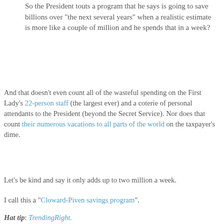So the President touts a program that he says is going to save billions over "the next several years" when a realistic estimate is more like a couple of million and he spends that in a week?
And that doesn't even count all of the wasteful spending on the First Lady's 22-person staff (the largest ever) and a coterie of personal attendants to the President (beyond the Secret Service). Nor does that count their numerous vacations to all parts of the world on the taxpayer's dime.
Let's be kind and say it only adds up to two million a week.
I call this a "Cloward-Piven savings program".
Hat tip: TrendingRight.
at 7:38 PM  Share